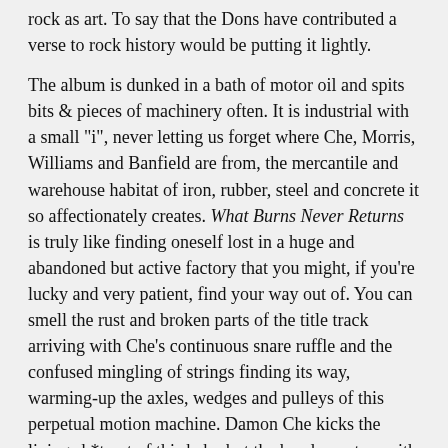rock as art. To say that the Dons have contributed a verse to rock history would be putting it lightly.
The album is dunked in a bath of motor oil and spits bits & pieces of machinery often. It is industrial with a small "i", never letting us forget where Che, Morris, Williams and Banfield are from, the mercantile and warehouse habitat of iron, rubber, steel and concrete it so affectionately creates. What Burns Never Returns is truly like finding oneself lost in a huge and abandoned but active factory that you might, if you're lucky and very patient, find your way out of. You can smell the rust and broken parts of the title track arriving with Che's continuous snare ruffle and the confused mingling of strings finding its way, warming-up the axles, wedges and pulleys of this perpetual motion machine. Damon Che kicks the living sh*t out of this baby but the band counters with deliberately contrasted lines creating the trade-off between force & distance, the friction these four utilize so well. Lightly slapped guitars and anchor-heavy bass parts for 'In the Absence of Strong Evidence to the Contrary,One May Step Out of the Way of a Charging Bull' with havoc one minute and wonky rhythms the next, heavily flirting with ~ if not tongue-kissing ~ dissonance. Fuzz thrash chords blow open 'Delivering the Groceries at 138 Beats per Minute' pumping with internal combustion, compressed air, elastic energy, and electrical discharge. Man meets man-made in 'Slice Where You Live Like Pie', a protest piece perhaps and a point where some listeners